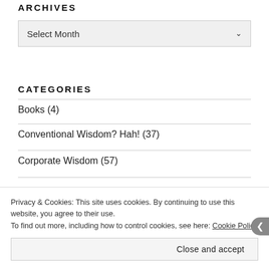ARCHIVES
[Figure (other): A dropdown select box labeled 'Select Month' with a chevron arrow on the right]
CATEGORIES
Books (4)
Conventional Wisdom? Hah! (37)
Corporate Wisdom (57)
Privacy & Cookies: This site uses cookies. By continuing to use this website, you agree to their use.
To find out more, including how to control cookies, see here: Cookie Policy
Close and accept